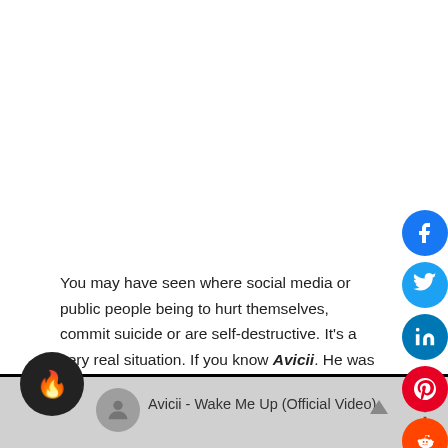You may have seen where social media or public people being to hurt themselves, commit suicide or are self-destructive. It's a very real situation. If you know Avicii. He was a superstar DJ and there is a documentary on him. He came to kill himself and the documentary is just so eye-opening.
[Figure (screenshot): YouTube video thumbnail/player bar for 'Avicii - Wake Me Up (Official Video)' with fire emoji button, user avatar, and three-dot menu icon]